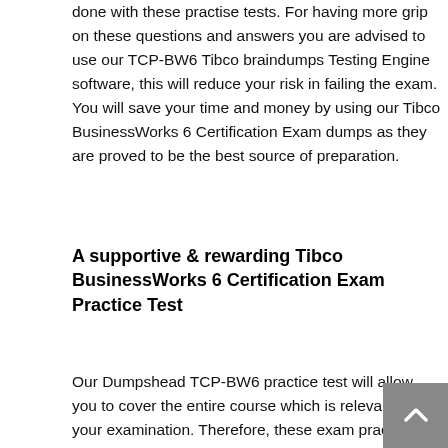done with these practise tests. For having more grip on these questions and answers you are advised to use our TCP-BW6 Tibco braindumps Testing Engine software, this will reduce your risk in failing the exam. You will save your time and money by using our Tibco BusinessWorks 6 Certification Exam dumps as they are proved to be the best source of preparation.
A supportive & rewarding Tibco BusinessWorks 6 Certification Exam Practice Test
Our Dumpshead TCP-BW6 practice test will allow you to cover the entire course which is relevant for your examination. Therefore, these exam practice dumps will provide you with exclusive and brief content that will save your time as well as your money. You are not